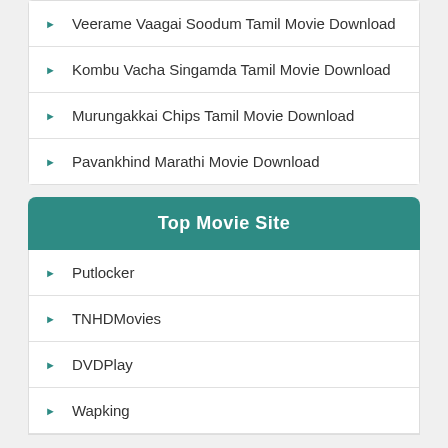Veerame Vaagai Soodum Tamil Movie Download
Kombu Vacha Singamda Tamil Movie Download
Murungakkai Chips Tamil Movie Download
Pavankhind Marathi Movie Download
Top Movie Site
Putlocker
TNHDMovies
DVDPlay
Wapking